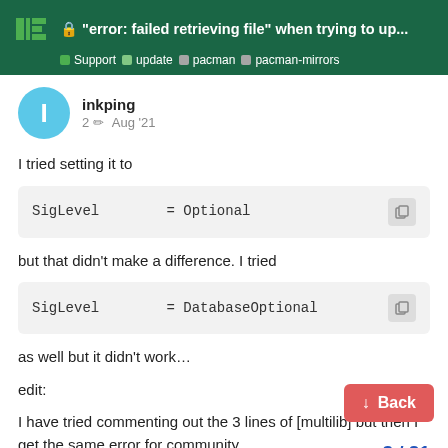"error: failed retrieving file" when trying to up... | Support | update | pacman | pacman-mirrors
I tried setting it to
but that didn't make a difference. I tried
as well but it didn't work...
edit:
I have tried commenting out the 3 lines of [multilib] but then I get the same error for community
3 / 21